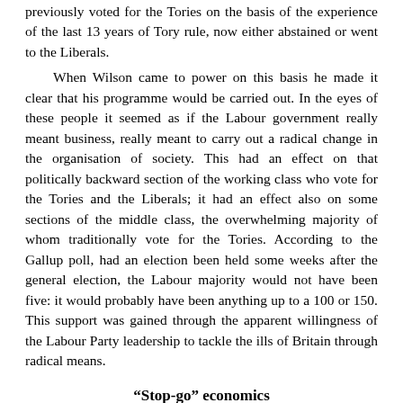previously voted for the Tories on the basis of the experience of the last 13 years of Tory rule, now either abstained or went to the Liberals.

When Wilson came to power on this basis he made it clear that his programme would be carried out. In the eyes of these people it seemed as if the Labour government really meant business, really meant to carry out a radical change in the organisation of society. This had an effect on that politically backward section of the working class who vote for the Tories and the Liberals; it had an effect also on some sections of the middle class, the overwhelming majority of whom traditionally vote for the Tories. According to the Gallup poll, had an election been held some weeks after the general election, the Labour majority would not have been five: it would probably have been anything up to a 100 or 150. This support was gained through the apparent willingness of the Labour Party leadership to tackle the ills of Britain through radical means.
“Stop-go” economics
This is the tragedy of the Labour government at the present time. We Marxists, those who support the programme of the Militant,